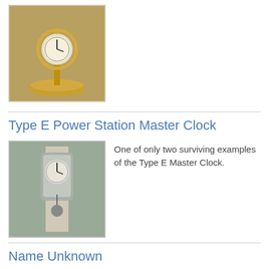[Figure (photo): Small gold/brass desk clock on a decorative base]
Type E Power Station Master Clock
[Figure (photo): Tall Type E Master Clock mounted on a wall, silver/metal body]
One of only two surviving examples of the Type E Master Clock.
Name Unknown
[Figure (photo): Octagonal Telechron clock with cream/yellow face and dark frame]
Telechron
Telechron 'Resolute'